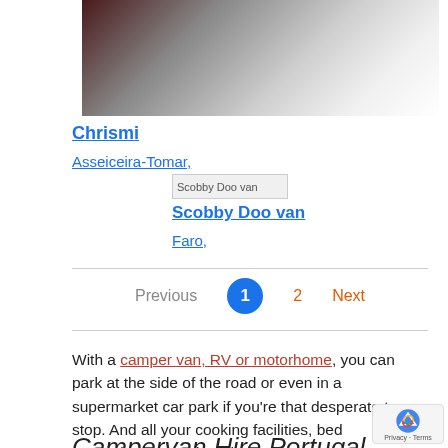[Figure (photo): Photo of a white table surface inside a campervan or motorhome, with red/maroon seating visible in the background]
Chrismi
Asseiceira-Tomar,
[Figure (photo): Placeholder image labeled 'Scobby Doo van']
Scobby Doo van
Faro,
Previous  1  2  Next
With a camper van, RV or motorhome, you can park at the side of the road or even in a supermarket car park if you're that desperate to stop. And all your cooking facilities, bed entertainment etc is with you as soon as you stop.
Campervan Hire Portugal